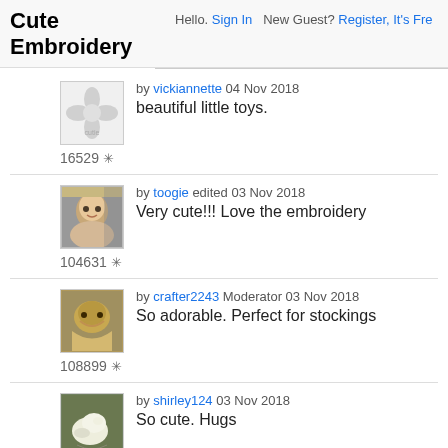Cute Embroidery  Hello. Sign In  New Guest? Register, It's Fre...
by vickiannette 04 Nov 2018
beautiful little toys.
16529
by toogie edited 03 Nov 2018
Very cute!!! Love the embroidery
104631
by crafter2243 Moderator 03 Nov 2018
So adorable. Perfect for stockings
108899
by shirley124 03 Nov 2018
So cute. Hugs
51967